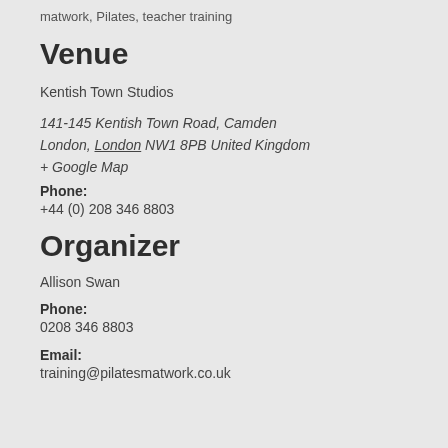matwork, Pilates, teacher training
Venue
Kentish Town Studios
141-145 Kentish Town Road, Camden London, London NW1 8PB United Kingdom + Google Map
Phone: +44 (0) 208 346 8803
Organizer
Allison Swan
Phone: 0208 346 8803
Email: training@pilatesmatwork.co.uk